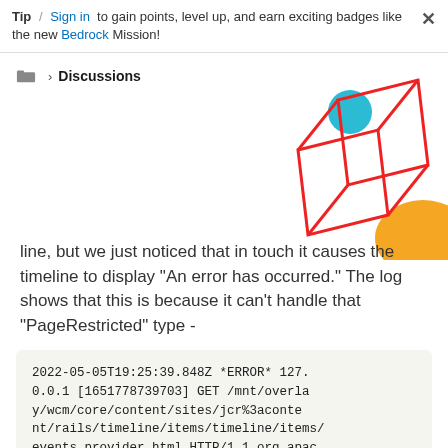Tip / Sign in to gain points, level up, and earn exciting badges like the new Bedrock Mission!
Discussions
[Figure (illustration): Geometric 3D wireframe cube shape in red with a teal circle and orange semicircle, decorative illustration]
line, but we just noticed that in touch it causes the timeline to display "An error has occurred." The log shows that this is because it can't handle that "PageRestricted" type -
2022-05-05T19:25:39.848Z *ERROR* 127.0.0.1 [1651778739703] GET /mnt/overlay/wcm/core/content/sites/jcr%3acontent/rails/timeline/items/timeline/items/events.provider.html HTTP/1.1 org.apac he.sling.engine.impl.SlingRequestProc...